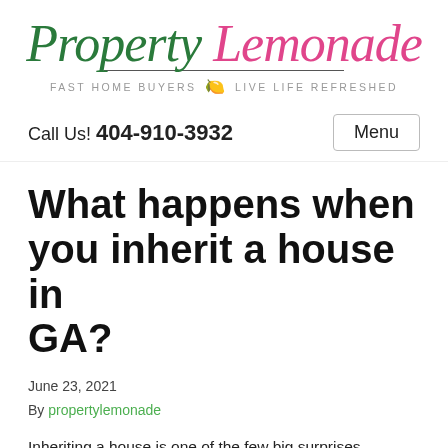[Figure (logo): Property Lemonade logo: 'Property' in dark green italic script, 'Lemonade' in pink italic script, with a horizontal line beneath and tagline 'FAST HOME BUYERS 🍋 LIVE LIFE REFRESHED']
Call Us! 404-910-3932
Menu
What happens when you inherit a house in GA?
June 23, 2021
By propertylemonade
Inheriting a house is one of the few big surprises